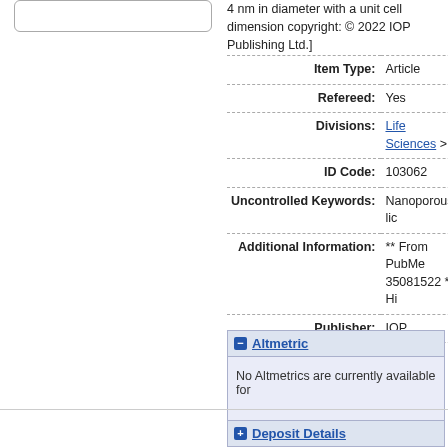4 nm in diameter with a unit cell dimension copyright: © 2022 IOP Publishing Ltd.]
| Field | Value |
| --- | --- |
| Item Type: | Article |
| Refereed: | Yes |
| Divisions: | Life Sciences > |
| ID Code: | 103062 |
| Uncontrolled Keywords: | Nanoporous, lic |
| Additional Information: | ** From PubMe 35081522 ** Hi |
| Publisher: | IOP |
Altmetric
No Altmetrics are currently available for
Deposit Details